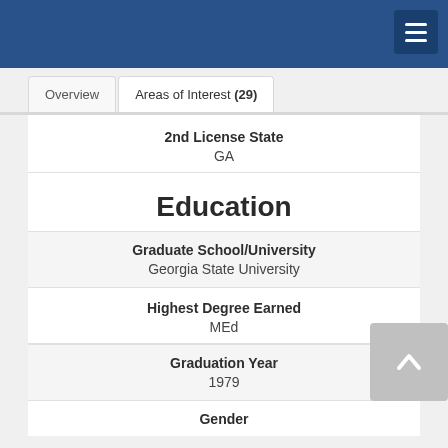Navigation menu header bar
Overview | Areas of Interest (29)
2nd License State
GA
Education
Graduate School/University
Georgia State University
Highest Degree Earned
MEd
Graduation Year
1979
Gender